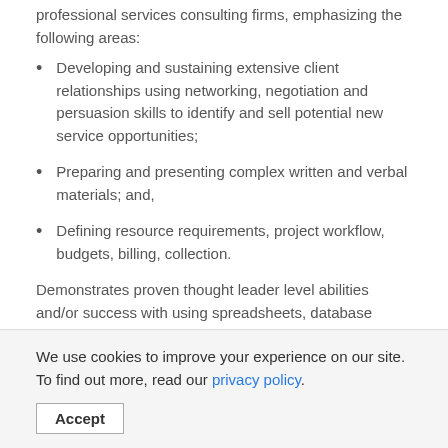professional services consulting firms, emphasizing the following areas:
Developing and sustaining extensive client relationships using networking, negotiation and persuasion skills to identify and sell potential new service opportunities;
Preparing and presenting complex written and verbal materials; and,
Defining resource requirements, project workflow, budgets, billing, collection.
Demonstrates proven thought leader level abilities and/or success with using spreadsheets, database and/or other actuarial software-related technologies. Demonstrates proven thought leader level abilities and/or success with directing and performing as a team leader: leading teams to generate a vision, to establish direction and motivate members, as well as create an atmosphere of trust, leverage diverse views, coach staff, to encourage improvement
We use cookies to improve your experience on our site. To find out more, read our privacy policy.
Accept